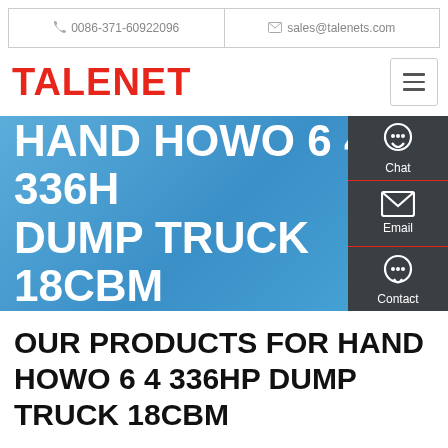0086-371-60922096  sales@talenets.com
TALENET
[Figure (screenshot): Blue banner with large white bold text: HAND HOWO 6 4 336HP DUMP TRUCK 18CBM, with dark side panel showing Chat, Email, Contact icons]
OUR PRODUCTS FOR HAND HOWO 6 4 336HP DUMP TRUCK 18CBM